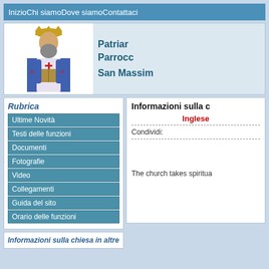InizioChi siamoDove siamoContattaci
[Figure (illustration): Byzantine-style icon of a saint bishop wearing ornate blue vestments with crosses, golden crown, holding a book, with beard]
Patriar
Parrocc
San Massim
Rubrica
Ultime Novità
Testi delle funzioni
Documenti
Fotografie
Video
Collegamenti
Guida del sito
Orario delle funzioni
Informazioni sulla chiesa in altre
Informazioni sulla c
Inglese
Condividi:
The church takes spiritua